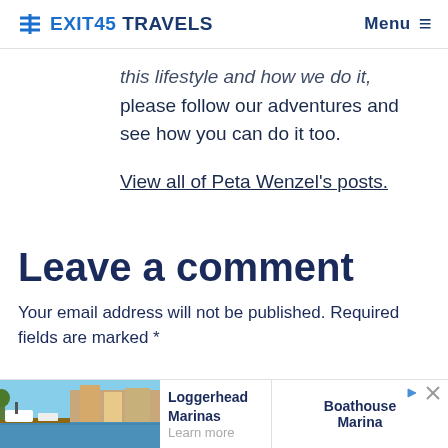Exit45 Travels | Menu
this lifestyle and how we do it, please follow our adventures and see how you can do it too.
View all of Peta Wenzel's posts.
Leave a comment
Your email address will not be published. Required fields are marked *
[Figure (other): Advertisement banner with marina/boathouse image for Loggerhead Marinas and Boathouse Marina]